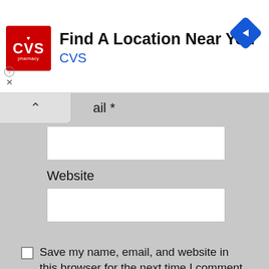[Figure (screenshot): CVS Pharmacy advertisement banner with logo, title 'Find A Location Near You', brand name 'CVS', and navigation diamond icon]
ail *
Website
Save my name, email, and website in this browser for the next time I comment.
[Figure (screenshot): CVS Pharmacy advertisement banner with logo, title 'Shop In-Store Or Online', brand name 'CVS', and navigation diamond icon]